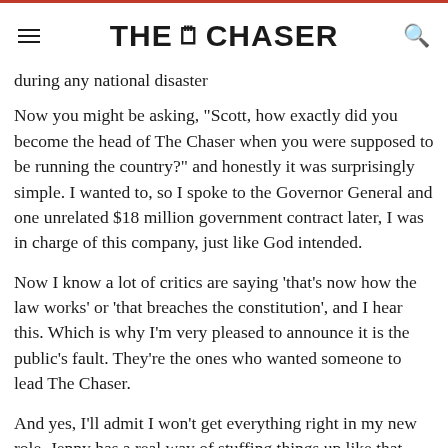THE CHASER
during any national disaster
Now you might be asking, "Scott, how exactly did you become the head of The Chaser when you were supposed to be running the country?" and honestly it was surprisingly simple. I wanted to, so I spoke to the Governor General and one unrelated $18 million government contract later, I was in charge of this company, just like God intended.
Now I know a lot of critics are saying 'that's now how the law works' or 'that breaches the constitution', and I hear this. Which is why I'm very pleased to announce it is the public's fault. They're the ones who wanted someone to lead The Chaser.
And yes, I'll admit I won't get everything right in my new role. Jenny has a real way of stuffing things up like that. But if at any point under my leadership a joke was not